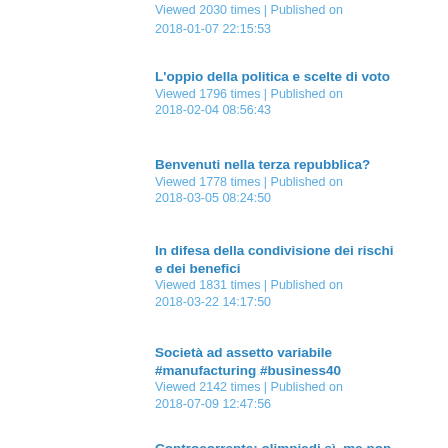Viewed 2030 times | Published on 2018-01-07 22:15:53
L'oppio della politica e scelte di voto
Viewed 1796 times | Published on 2018-02-04 08:56:43
Benvenuti nella terza repubblica?
Viewed 1778 times | Published on 2018-03-05 08:24:50
In difesa della condivisione dei rischi e dei benefici
Viewed 1831 times | Published on 2018-03-22 14:17:50
Società ad assetto variabile #manufacturing #business40
Viewed 2142 times | Published on 2018-07-09 12:47:56
Controcorrente: olimpiadi sì, ma non da soli
Viewed 2640 times | Published on 2018-07-20 14:43:00